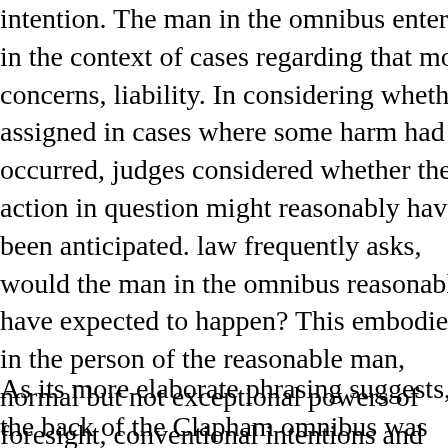intention. The man in the omnibus entered in the context of cases regarding that most concerns, liability. In considering whether assigned in cases where some harm had occurred, judges considered whether the action in question might reasonably have been anticipated. law frequently asks, would the man in the omnibus reasonably have expected to happen? This embodied in the person of the reasonable man, normal but not exceptional powers of foresight, conventional intentions and adequate but not exceptional capacity for making decisions.
As its more elaborate phrasing suggests, the back of the Clapham omnibus was quite specific...